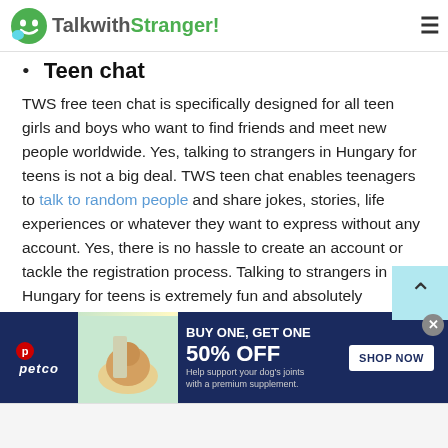TalkwithStranger!
Teen chat
TWS free teen chat is specifically designed for all teen girls and boys who want to find friends and meet new people worldwide. Yes, talking to strangers in Hungary for teens is not a big deal. TWS teen chat enables teenagers to talk to random people and share jokes, stories, life experiences or whatever they want to express without any account. Yes, there is no hassle to create an account or tackle the registration process. Talking to strangers in Hungary for teens is extremely fun and absolutely
[Figure (other): Petco advertisement banner: BUY ONE, GET ONE 50% OFF - Help support your dog's joints with a premium supplement. SHOP NOW button.]